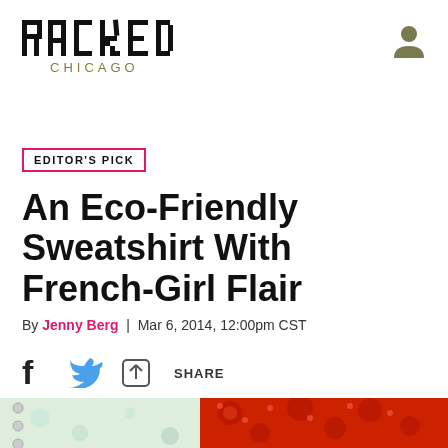RACKED CHICAGO
EDITOR'S PICK
An Eco-Friendly Sweatshirt With French-Girl Flair
By Jenny Berg | Mar 6, 2014, 12:00pm CST
[Figure (infographic): Social share bar with Facebook icon, Twitter bird icon, and share icon with SHARE label]
[Figure (photo): Photo showing a floral sweatshirt on the left side and a red sequined/beaded fabric with flower patterns on the right side]